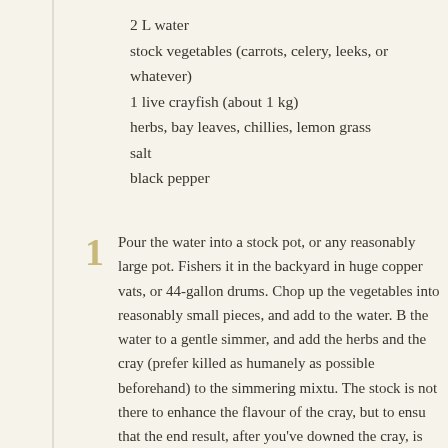2 L water
stock vegetables (carrots, celery, leeks, or whatever)
1 live crayfish (about 1 kg)
herbs, bay leaves, chillies, lemon grass
salt
black pepper
Pour the water into a stock pot, or any reasonably large pot. Fishers it in the backyard in huge copper vats, or 44-gallon drums. Chop up the vegetables into reasonably small pieces, and add to the water. B the water to a gentle simmer, and add the herbs and the cray (prefer killed as humanely as possible beforehand) to the simmering mixtu. The stock is not there to enhance the flavour of the cray, but to ensu that the end result, after you've downed the cray, is ripping with life tomorrow's soup. Add a little salt and black pepper.
Allow to simmer (take care, because fast cooking here makes the fl too firm) for 15 minutes (per kg), and leave, off the heat, for 5 minu. Double the time for each kg over the single kg to two kg, then redu.